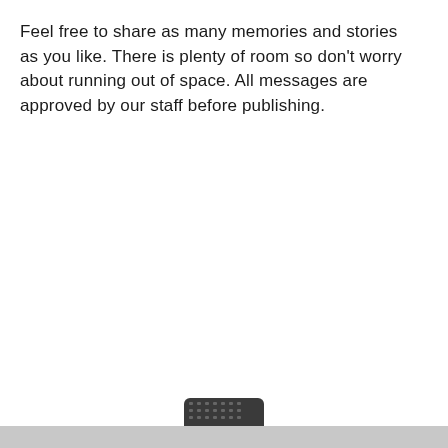Feel free to share as many memories and stories as you like. There is plenty of room so don't worry about running out of space. All messages are approved by our staff before publishing.